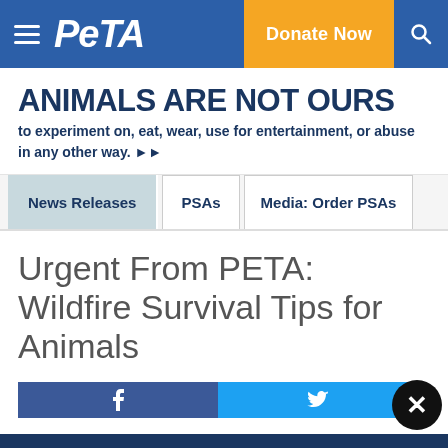PETA navigation bar with logo, Donate Now button, and search icon
ANIMALS ARE NOT OURS to experiment on, eat, wear, use for entertainment, or abuse in any other way.
News Releases | PSAs | Media: Order PSAs
Urgent From PETA: Wildfire Survival Tips for Animals
Text ROCKY to 73822 to urge officials to allow Rocky a lone coyote, who is pacing in apparent distress in a tiny cage, to move to an accredited sanctuary.